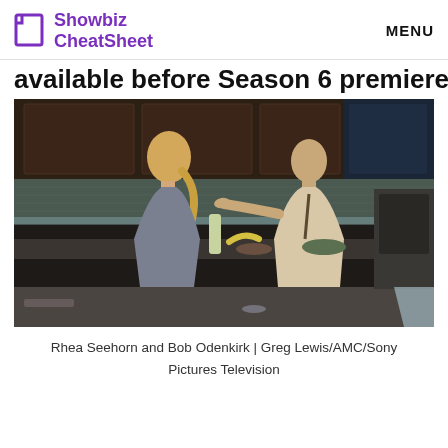Showbiz CheatSheet  MENU
available before Season 6 premiere
[Figure (photo): Rhea Seehorn and Bob Odenkirk standing in a kitchen, appearing to have a conversation. The kitchen has dark wood cabinets, a tiled backsplash, and a stove visible in the background.]
Rhea Seehorn and Bob Odenkirk | Greg Lewis/AMC/Sony Pictures Television